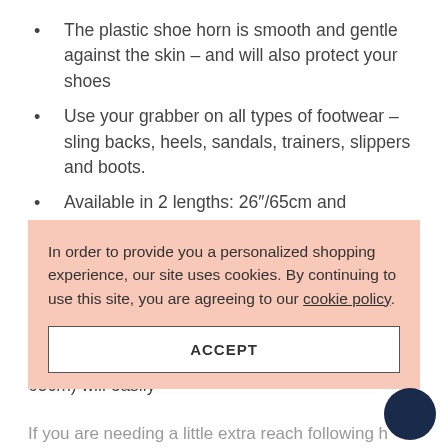The plastic shoe horn is smooth and gentle against the skin – and will also protect your shoes
Use your grabber on all types of footwear – sling backs, heels, sandals, trainers, slippers and boots.
Available in 2 lengths: 26″/65cm and 32″/82cm.
To find out if you are eligible for VAT relief and live in the UK on this product – click here
[partial] nd?
[partial] , or standing up in
[partial] 65cm) will easily
In order to provide you a personalized shopping experience, our site uses cookies. By continuing to use this site, you are agreeing to our cookie policy.
ACCEPT
If you are needing a little extra reach following h[partial]